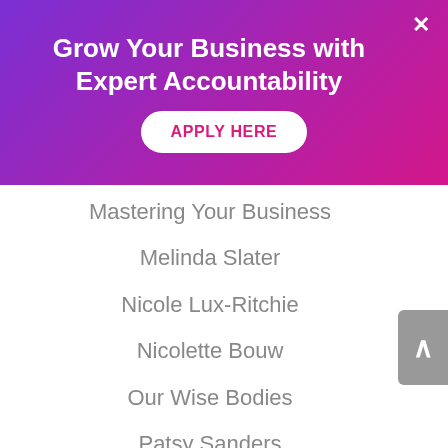Grow Your Business with Expert Accountability
APPLY HERE
Mastering Your Business
Melinda Slater
Nicole Lux-Ritchie
Nicolette Bouw
Our Wise Bodies
Patsy Sanders
PJ Hanks
Purple Couch
Rae Ann Hall
Relationships
Spirituality